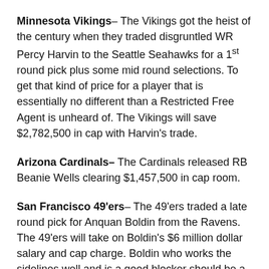Minnesota Vikings– The Vikings got the heist of the century when they traded disgruntled WR Percy Harvin to the Seattle Seahawks for a 1st round pick plus some mid round selections. To get that kind of price for a player that is essentially no different than a Restricted Free Agent is unheard of. The Vikings will save $2,782,500 in cap with Harvin's trade.
Arizona Cardinals– The Cardinals released RB Beanie Wells clearing $1,457,500 in cap room.
San Francisco 49'ers– The 49'ers traded a late round pick for Anquan Boldin from the Ravens. The 49'ers will take on Boldin's $6 million dollar salary and cap charge. Boldin who works the sidelines well and is a good blocker should be a fit in the style of offense that the 49'ers run. If the trade goes through I would think it would spell the end of Mario Manningham as a 49'erReleasing Manningham would free up close to $4 million in cap almost offsetting the acquisition of Boldin.